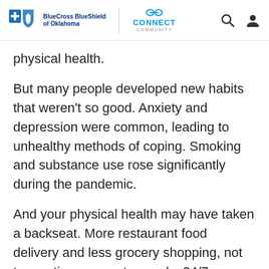BlueCross BlueShield of Oklahoma | CONNECT COMMUNITY
physical health.
But many people developed new habits that weren’t so good. Anxiety and depression were common, leading to unhealthy methods of coping. Smoking and substance use rose significantly during the pandemic.
And your physical health may have taken a backseat. More restaurant food delivery and less grocery shopping, not to mention access to snacks 24/7, may have led to less healthy diets and overeating. Less going out in public meant more sitting on the couch. And with gyms, yoga and Pilates studios, and other